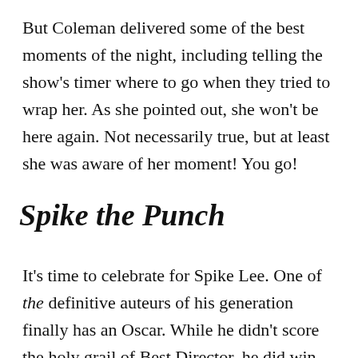But Coleman delivered some of the best moments of the night, including telling the show's timer where to go when they tried to wrap her. As she pointed out, she won't be here again. Not necessarily true, but at least she was aware of her moment! You go!
Spike the Punch
It's time to celebrate for Spike Lee. One of the definitive auteurs of his generation finally has an Oscar. While he didn't score the holy grail of Best Director, he did win for Adapted Screenplay.  There was just joy oozing from